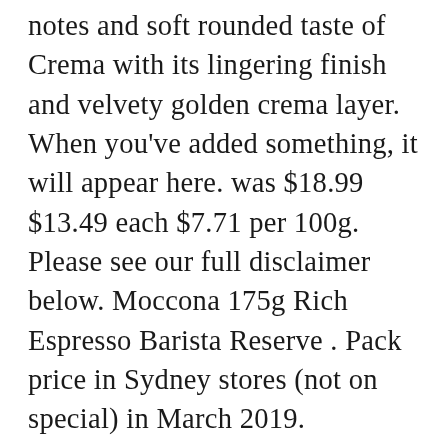notes and soft rounded taste of Crema with its lingering finish and velvety golden crema layer. When you've added something, it will appear here. was $18.99 $13.49 each $7.71 per 100g. Please see our full disclaimer below. Moccona 175g Rich Espresso Barista Reserve . Pack price in Sydney stores (not on special) in March 2019. Moccona Barista Reserve Rich Expresso – Indulge in the intensely aromatic, full-bodied, bold and complex flavour of Rich Espresso with the pronounced aroma of roasted coffee. CHOICE Score Expand to view more details. Origin information : Made in Germany from coffee beans sourced from multiple origins. ... Moccona Wholebean Barista Rich Espresso 175g; Moccona Wholebean Barista Smooth